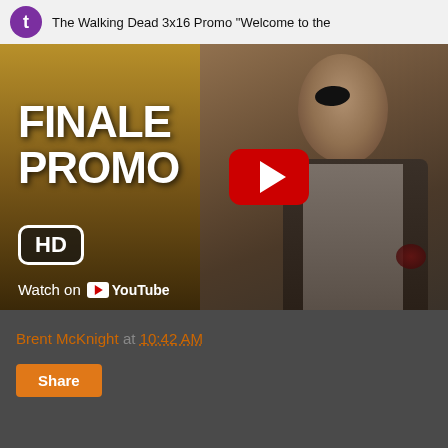[Figure (screenshot): YouTube video thumbnail for 'The Walking Dead 3x16 Promo Welcome to the...' showing a man with an eye patch (The Governor character) with text FINALE PROMO and HD badge, with a YouTube play button overlay and Watch on YouTube watermark]
Brent McKnight at 10:42 AM
Share